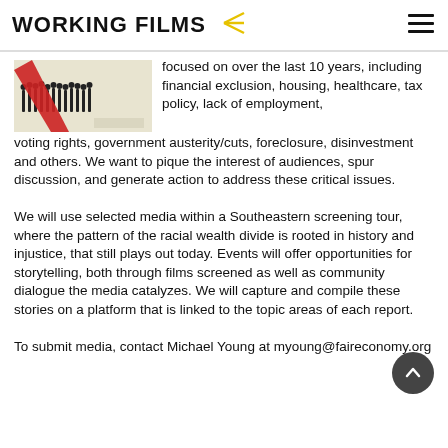WORKING FILMS
[Figure (photo): Black and white photo of people in a line with a red diagonal stripe, appears to be a film still or promotional image]
focused on over the last 10 years, including financial exclusion, housing, healthcare, tax policy, lack of employment, voting rights, government austerity/cuts, foreclosure, disinvestment and others. We want to pique the interest of audiences, spur discussion, and generate action to address these critical issues.
We will use selected media within a Southeastern screening tour, where the pattern of the racial wealth divide is rooted in history and injustice, that still plays out today. Events will offer opportunities for storytelling, both through films screened as well as community dialogue the media catalyzes. We will capture and compile these stories on a platform that is linked to the topic areas of each report.
To submit media, contact Michael Young at myoung@faireconomy.org